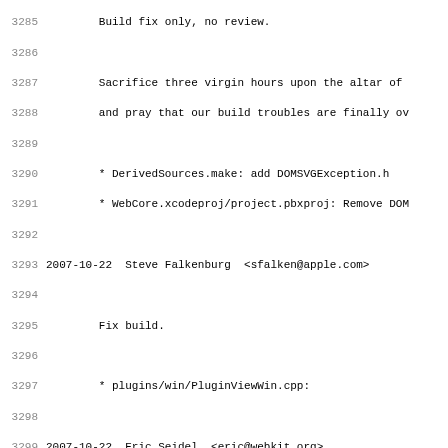Source code changelog/log file showing commit entries from lines 3285-3317, including entries for Steve Falkenburg (sfalken@apple.com) and Eric Seidel (eric@webkit.org) dated 2007-10-22.